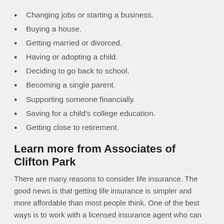Changing jobs or starting a business.
Buying a house.
Getting married or divorced.
Having or adopting a child.
Deciding to go back to school.
Becoming a single parent.
Supporting someone financially.
Saving for a child's college education.
Getting close to retirement.
Learn more from Associates of Clifton Park
There are many reasons to consider life insurance. The good news is that getting life insurance is simpler and more affordable than most people think. One of the best ways is to work with a licensed insurance agent who can walk you through the entire process.
Adds Steve, “Educators love to teach and learn, as they know knowledge is power. The life insurance world has changed beyond comprehension in the last couple of years. For example,